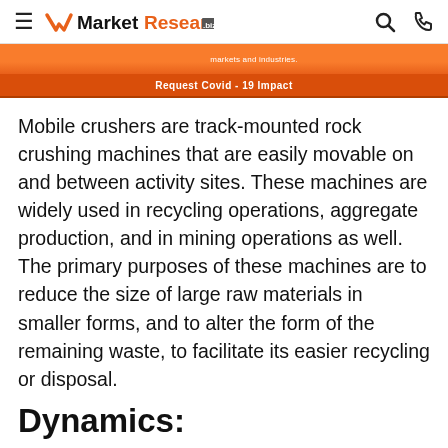MarketResearch.biz
[Figure (screenshot): Orange banner with 'markets and industries.' text and 'Request Covid - 19 Impact' button]
Mobile crushers are track-mounted rock crushing machines that are easily movable on and between activity sites. These machines are widely used in recycling operations, aggregate production, and in mining operations as well. The primary purposes of these machines are to reduce the size of large raw materials in smaller forms, and to alter the form of the remaining waste, to facilitate its easier recycling or disposal.
Dynamics: